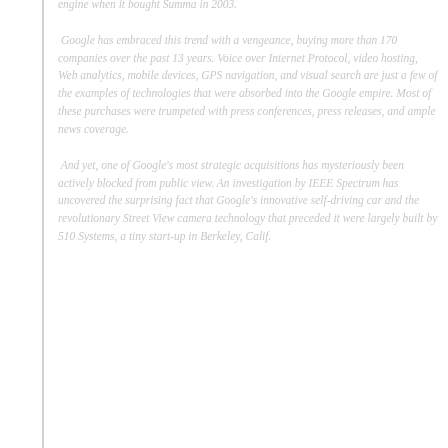engine when it bought Summa in 2003.
Google has embraced this trend with a vengeance, buying more than 170 companies over the past 13 years. Voice over Internet Protocol, video hosting, Web analytics, mobile devices, GPS navigation, and visual search are just a few of the examples of technologies that were absorbed into the Google empire. Most of these purchases were trumpeted with press conferences, press releases, and ample news coverage.
And yet, one of Google's most strategic acquisitions has mysteriously been actively blocked from public view. An investigation by IEEE Spectrum has uncovered the surprising fact that Google's innovative self-driving car and the revolutionary Street View camera technology that preceded it were largely built by 510 Systems, a tiny start-up in Berkeley, Calif.